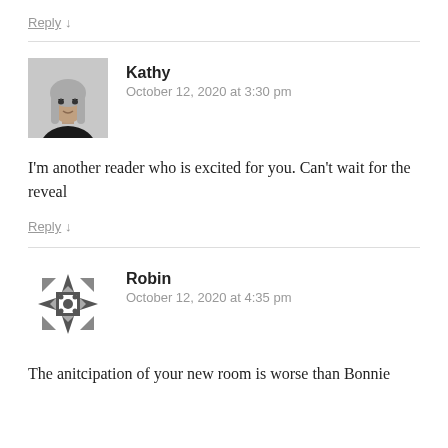Reply ↓
[Figure (photo): Avatar photo of Kathy, woman with grey hair]
Kathy
October 12, 2020 at 3:30 pm
I'm another reader who is excited for you. Can't wait for the reveal
Reply ↓
[Figure (illustration): Robin's geometric/quilt pattern avatar icon in grey and white]
Robin
October 12, 2020 at 4:35 pm
The anitcipation of your new room is worse than Bonnie